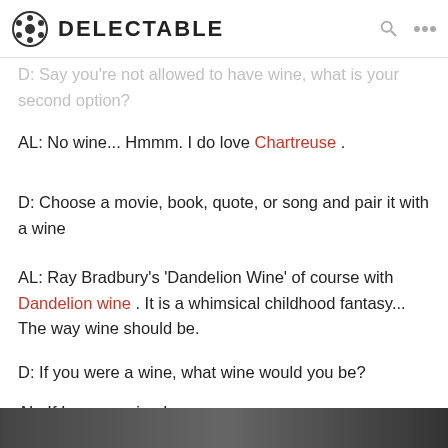DELECTABLE
bit price by a factor (low or high).
D: Say you're not allowed to have wine, what is your second option?
AL: No wine... Hmmm. I do love Chartreuse .
D: Choose a movie, book, quote, or song and pair it with a wine
AL: Ray Bradbury's 'Dandelion Wine' of course with Dandelion wine . It is a whimsical childhood fantasy... The way wine should be.
D: If you were a wine, what wine would you be?
AL: If I were a wine I would be Riesling . Versatile, nervy, energetic and never bitter.
[Figure (photo): Dark image strip at bottom of page]